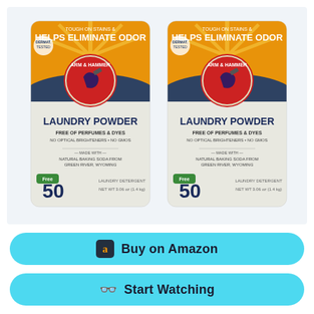[Figure (photo): Two bags of Arm & Hammer Laundry Powder, Free of Perfumes & Dyes, No Optical Brighteners, No GMOs, Made with Natural Baking Soda from Green River, Wyoming. 50 loads, Net Wt 3.06 oz (1.4 kg). Bags feature orange and white packaging with the Arm & Hammer logo, text reading TOUGH ON STAINS & HELPS ELIMINATE ODOR at top.]
Buy on Amazon
Start Watching